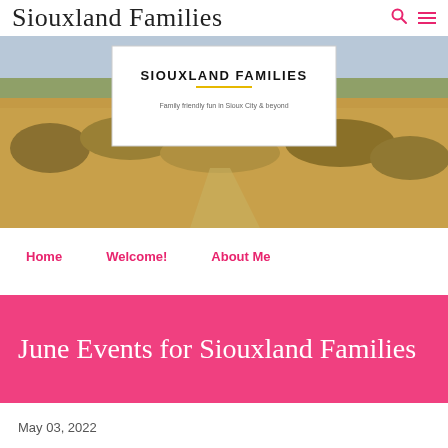Siouxland Families
[Figure (photo): Outdoor landscape photo showing dry grasslands and brush with a trail path, overlaid with a white logo box reading SIOUXLAND FAMILIES with subtitle 'Family friendly fun in Sioux City & beyond']
Home   Welcome!   About Me
June Events for Siouxland Families
May 03, 2022